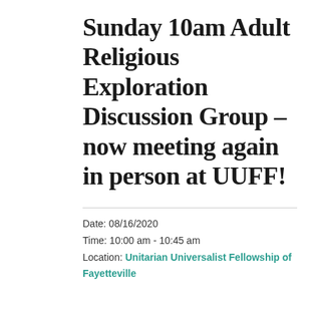Sunday 10am Adult Religious Exploration Discussion Group – now meeting again in person at UUFF!
Date: 08/16/2020
Time: 10:00 am - 10:45 am
Location: Unitarian Universalist Fellowship of Fayetteville